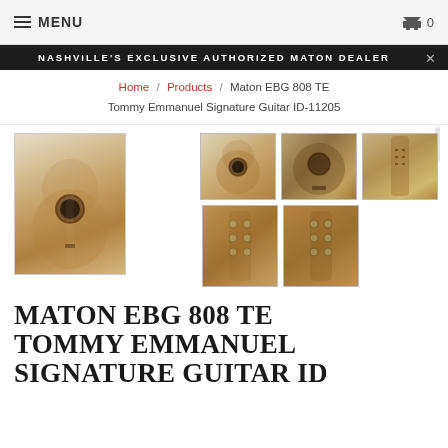≡ MENU  0
NASHVILLE'S EXCLUSIVE AUTHORIZED MATON DEALER
Home / Products / Maton EBG 808 TE Tommy Emmanuel Signature Guitar ID-11205
[Figure (photo): Large thumbnail of Maton EBG 808 TE acoustic guitar front view]
[Figure (photo): Small thumbnail of Maton EBG 808 TE front view]
[Figure (photo): Small thumbnail of Maton EBG 808 TE soundhole/body detail]
[Figure (photo): Small thumbnail of Maton EBG 808 TE full body side view]
[Figure (photo): Small thumbnail of Maton EBG 808 TE headstock close-up]
[Figure (photo): Small thumbnail of Maton EBG 808 TE headstock close-up alternate]
MATON EBG 808 TE TOMMY EMMANUEL SIGNATURE GUITAR ID